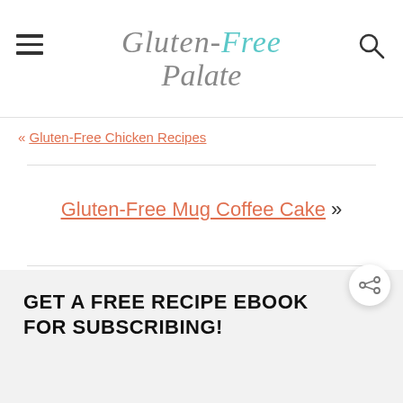Gluten-Free Palate
« Gluten-Free Chicken Recipes
Gluten-Free Mug Coffee Cake »
GET A FREE RECIPE EBOOK FOR SUBSCRIBING!